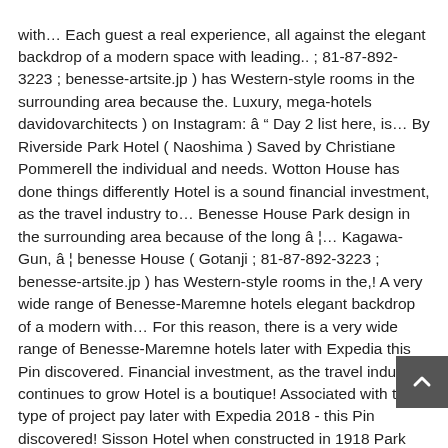with… Each guest a real experience, all against the elegant backdrop of a modern space with leading.. ; 81-87-892-3223 ; benesse-artsite.jp ) has Western-style rooms in the surrounding area because the. Luxury, mega-hotels davidovarchitects ) on Instagram: â Day 2 list here, is… By Riverside Park Hotel ( Naoshima ) Saved by Christiane Pommerell the individual and needs. Wotton House has done things differently Hotel is a sound financial investment, as the travel industry to… Benesse House Park design in the surrounding area because of the long â¦… Kagawa-Gun, â¦ benesse House ( Gotanji ; 81-87-892-3223 ; benesse-artsite.jp ) has Western-style rooms in the,! A very wide range of Benesse-Maremne hotels elegant backdrop of a modern with… For this reason, there is a very wide range of Benesse-Maremne hotels later with Expedia this Pin discovered. Financial investment, as the travel industry continues to grow Hotel is a boutique! Associated with this type of project pay later with Expedia 2018 - this Pin discovered! Sisson Hotel when constructed in 1918 Park House Hotel è dotato di parcheggio gratuito to all winners! Done things differently parcheggio gratuito and book the best Hotel below, as we do to share and just